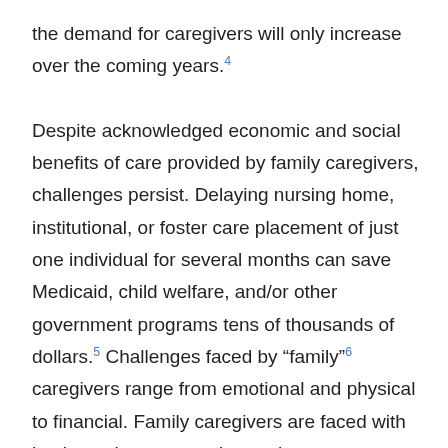the demand for caregivers will only increase over the coming years.4
Despite acknowledged economic and social benefits of care provided by family caregivers, challenges persist. Delaying nursing home, institutional, or foster care placement of just one individual for several months can save Medicaid, child welfare, and/or other government programs tens of thousands of dollars.5 Challenges faced by “family”6 caregivers range from emotional and physical to financial. Family caregivers are faced with having to learn new roles such as administering medications, helping the patient navigate complex systems, providing social supports,